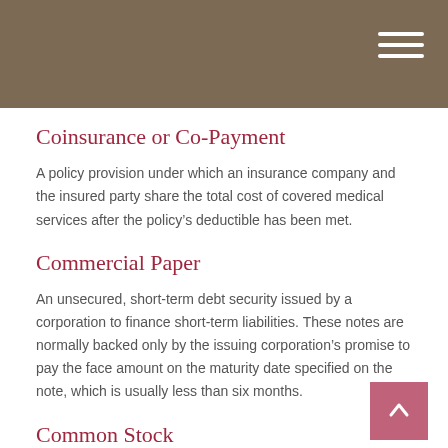Coinsurance or Co-Payment
A policy provision under which an insurance company and the insured party share the total cost of covered medical services after the policy's deductible has been met.
Commercial Paper
An unsecured, short-term debt security issued by a corporation to finance short-term liabilities. These notes are normally backed only by the issuing corporation's promise to pay the face amount on the maturity date specified on the note, which is usually less than six months.
Common Stock
A security that represents partial ownership of a